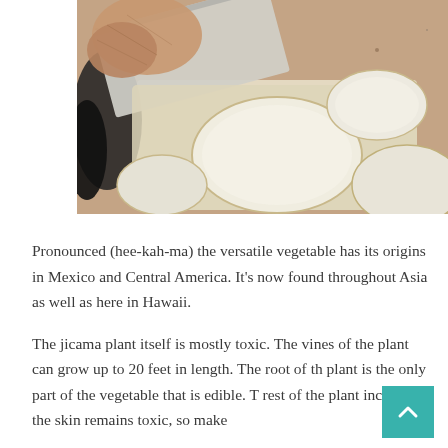[Figure (photo): Close-up photo of hands using a knife to slice jicama on a cutting board, with granite countertop visible. Several white round slices of jicama are visible on the cutting board.]
Pronounced (hee-kah-ma) the versatile vegetable has its origins in Mexico and Central America. It's now found throughout Asia as well as here in Hawaii.
The jicama plant itself is mostly toxic. The vines of the plant can grow up to 20 feet in length. The root of the plant is the only part of the vegetable that is edible. The rest of the plant including the skin remains toxic, so make